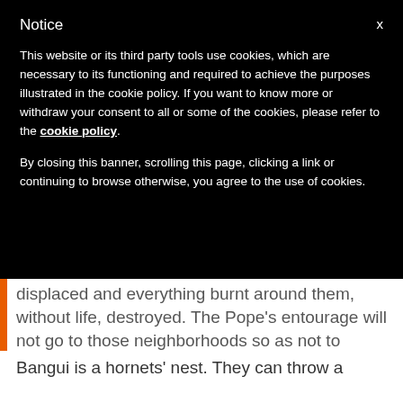Notice   X
This website or its third party tools use cookies, which are necessary to its functioning and required to achieve the purposes illustrated in the cookie policy. If you want to know more or withdraw your consent to all or some of the cookies, please refer to the cookie policy.
By closing this banner, scrolling this page, clicking a link or continuing to browse otherwise, you agree to the use of cookies.
displaced and everything burnt around them, without life, destroyed. The Pope’s entourage will not go to those neighborhoods so as not to endanger all the Central African faithful that will follow him wherever he goes.
Bangui is a hornets’ nest. They can throw a